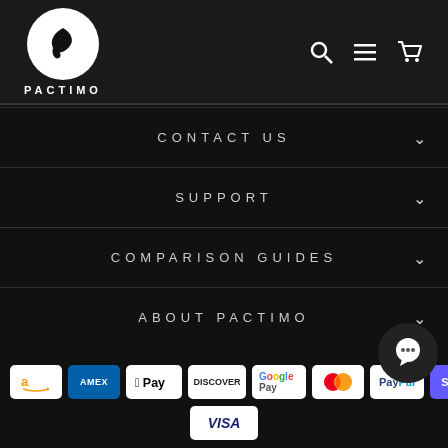[Figure (logo): Pactimo logo: white circle with black bird/swoosh icon, text PACTIMO below]
[Figure (infographic): Header navigation icons: search magnifier, hamburger menu, shopping cart]
CONTACT US
SUPPORT
COMPARISON GUIDES
ABOUT PACTIMO
[Figure (infographic): Payment method badges: Amazon, Amex, Apple Pay, Discover, Google Pay, Mastercard, PayPal, (partial), Visa]
[Figure (illustration): Chat bubble / customer support icon overlay]